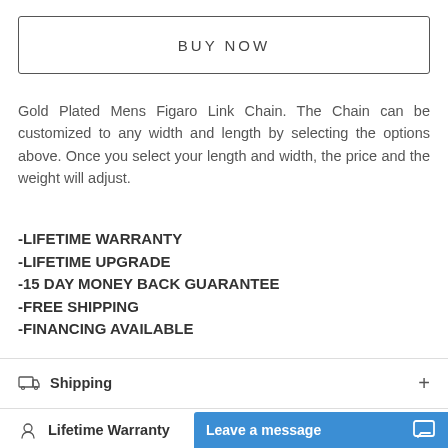BUY NOW
Gold Plated Mens Figaro Link Chain. The Chain can be customized to any width and length by selecting the options above. Once you select your length and width, the price and the weight will adjust.
-LIFETIME WARRANTY
-LIFETIME UPGRADE
-15 DAY MONEY BACK GUARANTEE
-FREE SHIPPING
-FINANCING AVAILABLE
Shipping
Lifetime Warranty
Leave a message